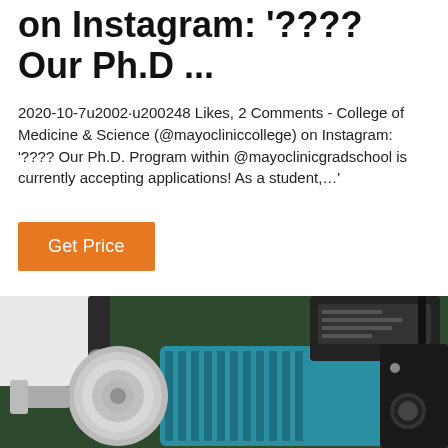on Instagram: '???? Our Ph.D ...
2020-10-7u2002·u200248 Likes, 2 Comments - College of Medicine & Science (@mayocliniccollege) on Instagram: '???? Our Ph.D. Program within @mayoclinicgradschool is currently accepting applications! As a student,…'
Get Price
[Figure (photo): Close-up photograph of an industrial water pump with a shiny stainless steel centrifugal pump head on the left and a teal/blue electric motor on the right, with a black control box visible at the top. Background is dark green.]